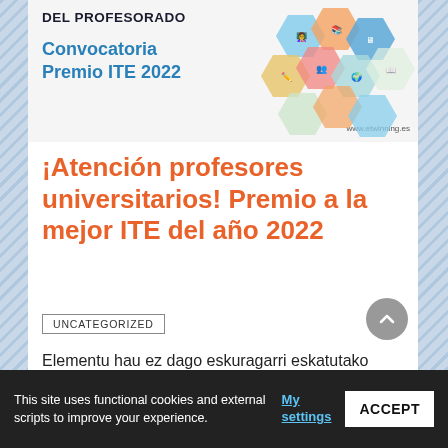[Figure (illustration): Banner image showing hexagonal collage of classroom/education scenes with text 'DEL PROFESORADO' and 'Convocatoria Premio ITE 2022', with www.etwinning.es URL]
¡Atención profesores universitarios! Premio a la mejor ITE del año 2022
UNCATEGORIZED
Elementu hau ez dago eskuragarri eskatutako hizkuntzan. Sentitzen dut .
This site uses functional cookies and external scripts to improve your experience.
My settings
ACCEPT